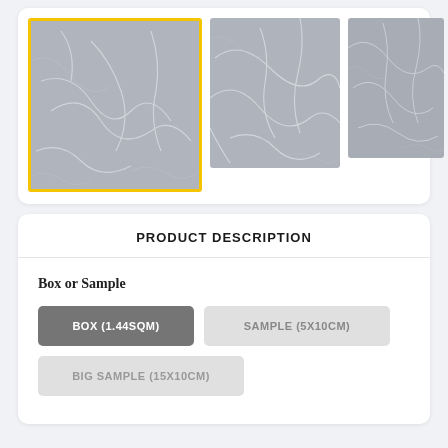[Figure (photo): Three marble texture tile images shown in a gallery row. The first (main/selected) has a yellow border and shows a grey marble surface. The second and third are thumbnails of the same or similar grey marble texture.]
PRODUCT DESCRIPTION
Box or Sample
BOX (1.44SQM)
SAMPLE (5X10CM)
BIG SAMPLE (15X10CM)